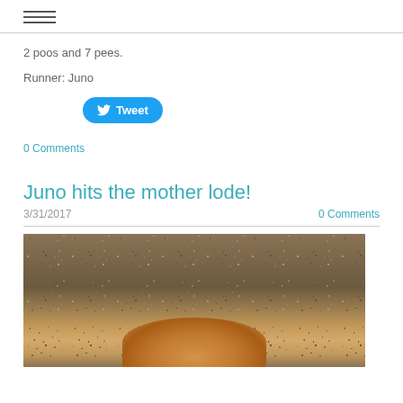≡ (hamburger menu icon)
2 poos and 7 pees.
Runner: Juno
[Figure (other): Tweet button with Twitter bird icon]
0 Comments
Juno hits the mother lode!
3/31/2017    0 Comments
[Figure (photo): Photo of a golden dog lying on gravel/mulch ground, viewed from above, showing mostly the ground texture with the dog's golden fur visible at the bottom of the frame]